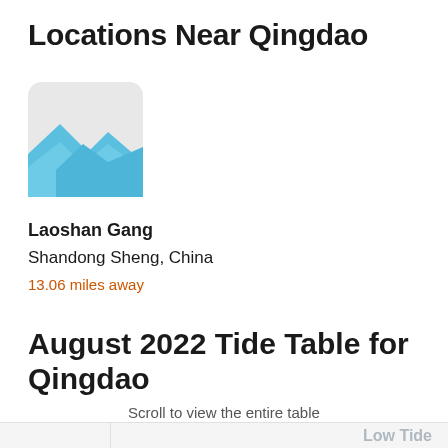Locations Near Qingdao
[Figure (illustration): Thumbnail image placeholder showing mountain silhouette in light blue against a light grey background with rounded corners]
Laoshan Gang
Shandong Sheng, China
13.06 miles away
August 2022 Tide Table for Qingdao
Scroll to view the entire table
|  | Low Tide |
| --- | --- |